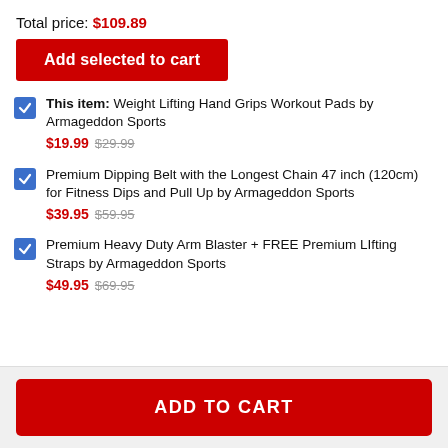Total price: $109.89
Add selected to cart
This item: Weight Lifting Hand Grips Workout Pads by Armageddon Sports $19.99 $29.99
Premium Dipping Belt with the Longest Chain 47 inch (120cm) for Fitness Dips and Pull Up by Armageddon Sports $39.95 $59.95
Premium Heavy Duty Arm Blaster + FREE Premium LIfting Straps by Armageddon Sports $49.95 $69.95
ADD TO CART